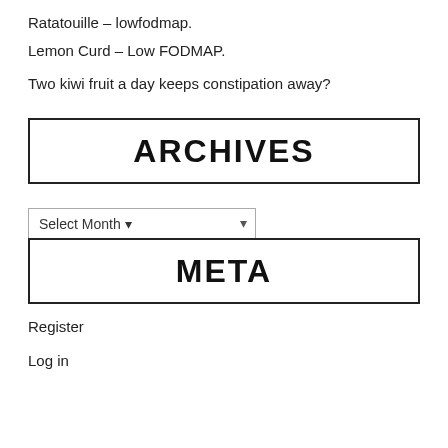Ratatouille – lowfodmap.
Lemon Curd – Low FODMAP.
Two kiwi fruit a day keeps constipation away?
ARCHIVES
Select Month
META
Register
Log in